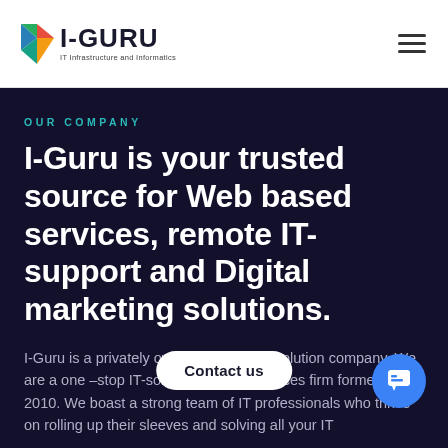[Figure (logo): I-GURU logo with colorful downward-pointing arrow/chevron icon and text 'I-GURU IT Infrastructure and Informatics']
OUR COMPANY
I-Guru is your trusted source for Web based services, remote IT-support and Digital marketing solutions.
I-Guru is a privately owned web based solution company. We are a one -stop IT-solutions and IT-services firm formed in 2010. We boast a strong team of IT professionals who thrive on rolling up their sleeves and solving all your IT